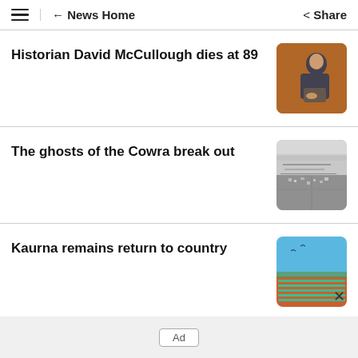≡  ← News Home   Share
Historian David McCullough dies at 89
[Figure (photo): Elderly man in dark suit seated, hands clasped, warm brown background]
The ghosts of the Cowra break out
[Figure (photo): Black and white aerial photograph of a town or camp landscape]
Kaurna remains return to country
[Figure (photo): Aerial view of rows of small green plants in reddish soil under blue sky]
Ad